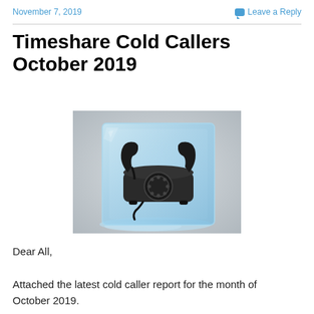November 7, 2019    Leave a Reply
Timeshare Cold Callers October 2019
[Figure (photo): A vintage black rotary telephone frozen inside a clear blue ice cube, with melting ice water pooled around the base, on a light grey background.]
Dear All,
Attached the latest cold caller report for the month of October 2019.